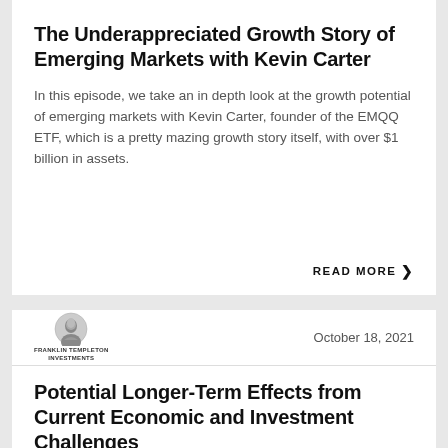The Underappreciated Growth Story of Emerging Markets with Kevin Carter
In this episode, we take an in depth look at the growth potential of emerging markets with Kevin Carter, founder of the EMQQ ETF, which is a pretty mazing growth story itself, with over $1 billion in assets.
READ MORE
[Figure (logo): Franklin Templeton Investments logo with circular portrait emblem]
October 18, 2021
Potential Longer-Term Effects from Current Economic and Investment Challenges